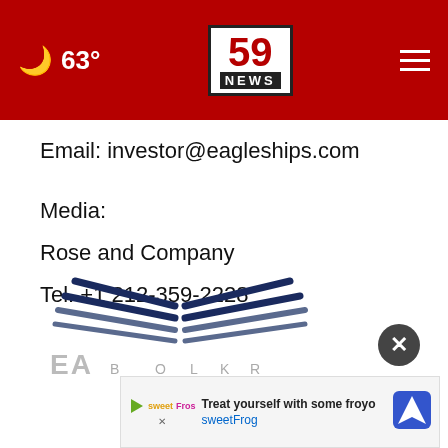63° | 59 NEWS
Email: investor@eagleships.com
Media:
Rose and Company
Tel. +1 212-359-2228
[Figure (logo): Eagle Ships logo — stylized wing/eagle graphic in dark navy and gray with letters EA at bottom]
[Figure (screenshot): Advertisement banner: Treat yourself with some froyo — sweetFrog, with play icon, sweetFrog logo, and navigation/map icon]